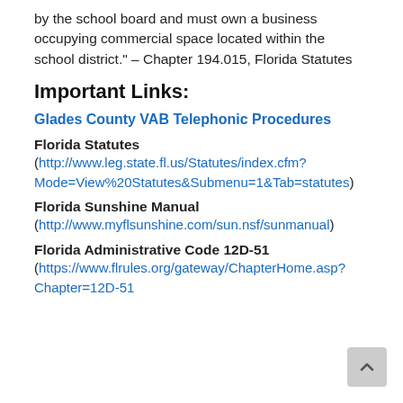by the school board and must own a business occupying commercial space located within the school district." – Chapter 194.015, Florida Statutes
Important Links:
Glades County VAB Telephonic Procedures
Florida Statutes (http://www.leg.state.fl.us/Statutes/index.cfm?Mode=View%20Statutes&Submenu=1&Tab=statutes)
Florida Sunshine Manual (http://www.myflsunshine.com/sun.nsf/sunmanual)
Florida Administrative Code 12D-51 (https://www.flrules.org/gateway/ChapterHome.asp?Chapter=12D-51